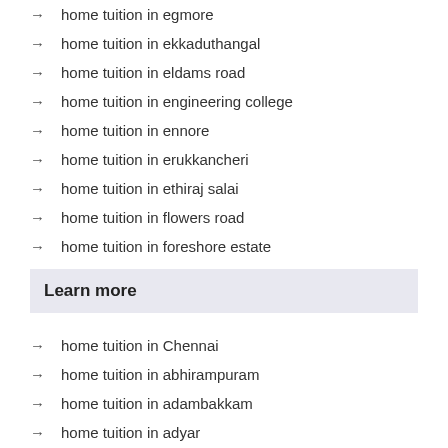home tuition in egmore
home tuition in ekkaduthangal
home tuition in eldams road
home tuition in engineering college
home tuition in ennore
home tuition in erukkancheri
home tuition in ethiraj salai
home tuition in flowers road
home tuition in foreshore estate
Learn more
home tuition in Chennai
home tuition in abhirampuram
home tuition in adambakkam
home tuition in adyar
home tuition in agaram
home tuition in alandur
home tuition in alapakkam
home tuition in alwarpet
home tuition in alwarthirunagar